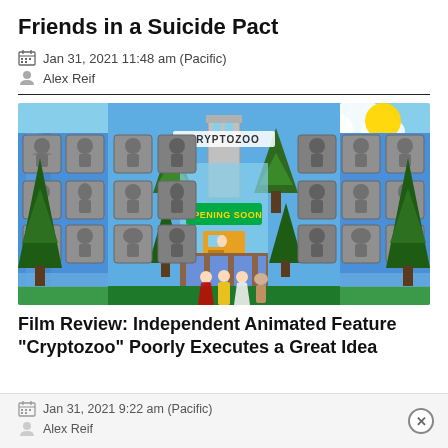Friends in a Suicide Pact
Jan 31, 2021 11:48 am (Pacific)
Alex Reif
[Figure (screenshot): Animated still from the film Cryptozoo showing a colorful theme park entrance with 'OPENING SOON' banner, mythological creature sculptures on blue waterfall walls, pine trees, and cartoon characters in foreground.]
Film Review: Independent Animated Feature "Cryptozoo" Poorly Executes a Great Idea
Jan 31, 2021 9:22 am (Pacific)
Alex Reif